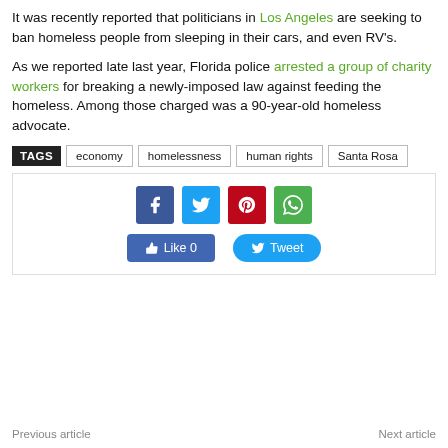It was recently reported that politicians in Los Angeles are seeking to ban homeless people from sleeping in their cars, and even RV's.
As we reported late last year, Florida police arrested a group of charity workers for breaking a newly-imposed law against feeding the homeless. Among those charged was a 90-year-old homeless advocate.
TAGS  economy  homelessness  human rights  Santa Rosa
[Figure (infographic): Social sharing buttons: Facebook, Twitter, Pinterest, WhatsApp icons, and Like 0 / Tweet buttons]
Previous article    Next article